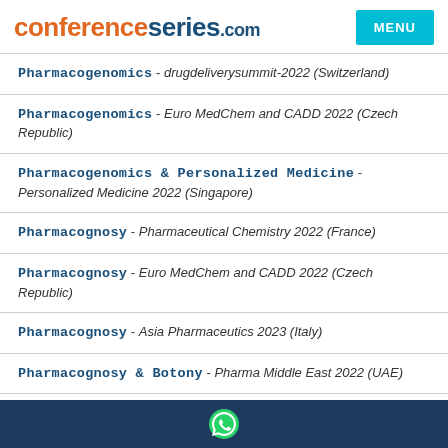conferenceseries.com | MENU
Pharmacogenomics - drugdeliverysummit-2022 (Switzerland)
Pharmacogenomics - Euro MedChem and CADD 2022 (Czech Republic)
Pharmacogenomics & Personalized Medicine - Personalized Medicine 2022 (Singapore)
Pharmacognosy - Pharmaceutical Chemistry 2022 (France)
Pharmacognosy - Euro MedChem and CADD 2022 (Czech Republic)
Pharmacognosy - Asia Pharmaceutics 2023 (Italy)
Pharmacognosy & Botony - Pharma Middle East 2022 (UAE)
Pharmacognosy and Herbal Drug Action - Glotal Pharma...
WhatsApp icon